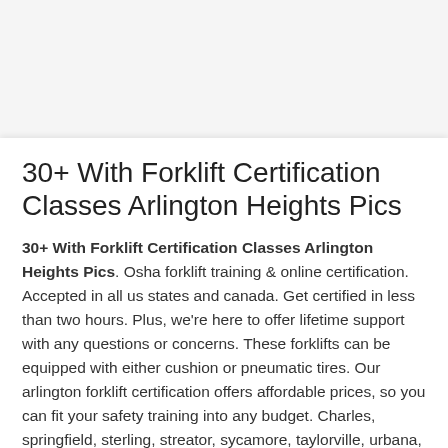30+ With Forklift Certification Classes Arlington Heights Pics
30+ With Forklift Certification Classes Arlington Heights Pics. Osha forklift training & online certification. Accepted in all us states and canada. Get certified in less than two hours. Plus, we're here to offer lifetime support with any questions or concerns. These forklifts can be equipped with either cushion or pneumatic tires. Our arlington forklift certification offers affordable prices, so you can fit your safety training into any budget. Charles, springfield, sterling, streator, sycamore, taylorville, urbana, warrenville, washington, waterloo. Passing the